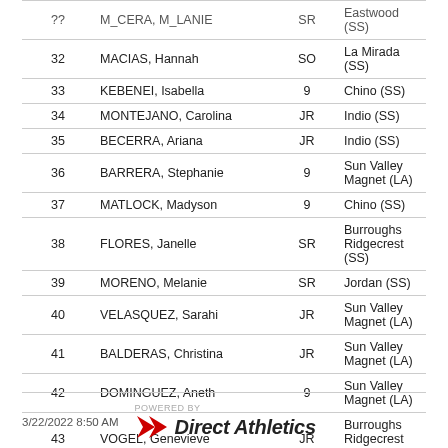| # | Name | Yr | School |
| --- | --- | --- | --- |
| 32 | MACIAS, Hannah | SO | La Mirada (SS) |
| 33 | KEBENEI, Isabella | 9 | Chino (SS) |
| 34 | MONTEJANO, Carolina | JR | Indio (SS) |
| 35 | BECERRA, Ariana | JR | Indio (SS) |
| 36 | BARRERA, Stephanie | 9 | Sun Valley Magnet (LA) |
| 37 | MATLOCK, Madyson | 9 | Chino (SS) |
| 38 | FLORES, Janelle | SR | Burroughs Ridgecrest (SS) |
| 39 | MORENO, Melanie | SR | Jordan (SS) |
| 40 | VELASQUEZ, Sarahi | JR | Sun Valley Magnet (LA) |
| 41 | BALDERAS, Christina | JR | Sun Valley Magnet (LA) |
| 42 | DOMINGUEZ, Aneth | 9 | Sun Valley Magnet (LA) |
| 43 | VOGEL, Genevieve | JR | Burroughs Ridgecrest (SS) |
3/22/2022 8:50 AM  POWERED BY Direct Athletics